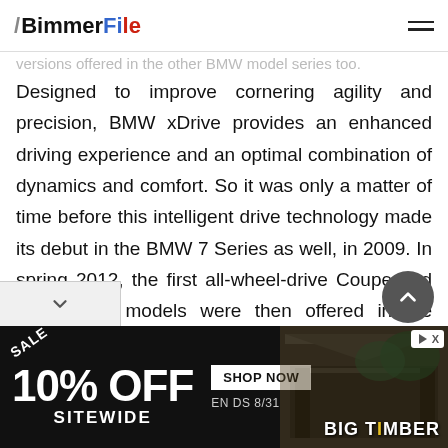BimmerFile
versions offered in the other BMW model series too.
Designed to improve cornering agility and precision, BMW xDrive provides an enhanced driving experience and an optimal combination of dynamics and comfort. So it was only a matter of time before this intelligent drive technology made its debut in the BMW 7 Series as well, in 2009. In spring 2012, the first all-wheel-drive Coupe and Convertible models were then offered in the sporty BMW 6 Series. BMW xDrive can also be specified on the current BMW 3 and 5 Series and, since 2013, on the Convertible, Coupe and Gran Coupe models of the new BMW 4 Series.
[Figure (other): Advertisement banner: SALE 10% OFF SITEWIDE SHOP NOW ENDS 8/31 BIG TIMBER with gazebo image]